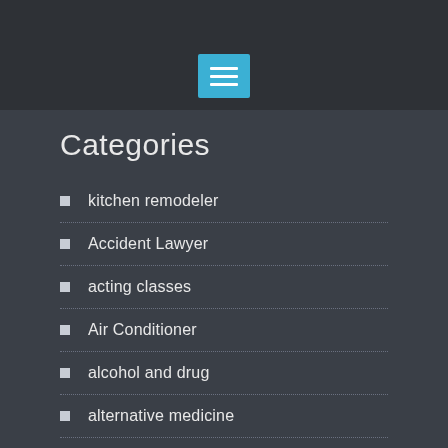[Figure (screenshot): Mobile app header with dark background and a teal hamburger menu icon button]
Categories
kitchen remodeler
Accident Lawyer
acting classes
Air Conditioner
alcohol and drug
alternative medicine
appliance repair
Attorney